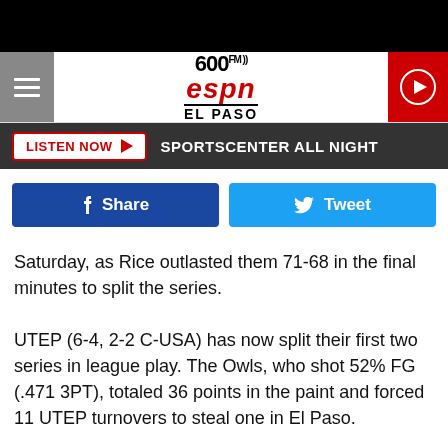600 FM ESPN EL PASO
LISTEN NOW  SPORTSCENTER ALL NIGHT
Share  Tweet
Saturday, as Rice outlasted them 71-68 in the final minutes to split the series.
UTEP (6-4, 2-2 C-USA) has now split their first two series in league play. The Owls, who shot 52% FG (.471 3PT), totaled 36 points in the paint and forced 11 UTEP turnovers to steal one in El Paso.